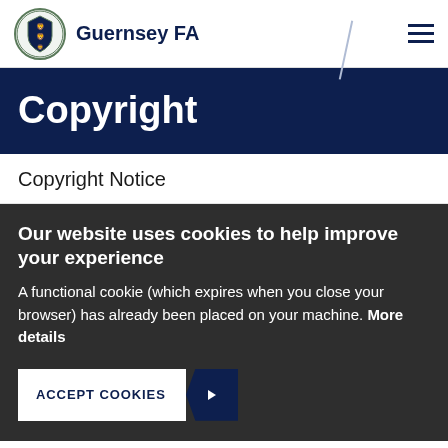Guernsey FA
Copyright
Copyright Notice
Our website uses cookies to help improve your experience
A functional cookie (which expires when you close your browser) has already been placed on your machine. More details
ACCEPT COOKIES